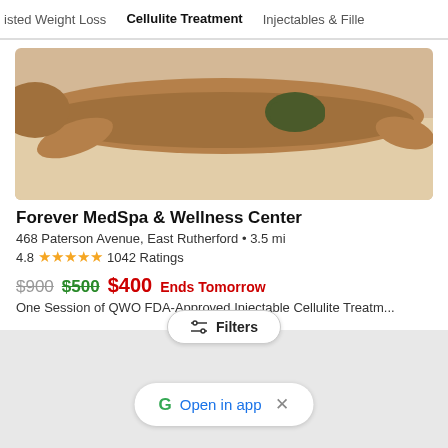isted Weight Loss   Cellulite Treatment   Injectables & Fille
[Figure (photo): Woman in bikini lying face-down on a beach/sand surface]
Forever MedSpa & Wellness Center
468 Paterson Avenue, East Rutherford • 3.5 mi
4.8  ★★★★★  1042 Ratings
$900  $500  $400  Ends Tomorrow
One Session of QWO FDA-Approved Injectable Cellulite Treatm...
[Figure (screenshot): Filters button and Open in app banner overlay on grey background]